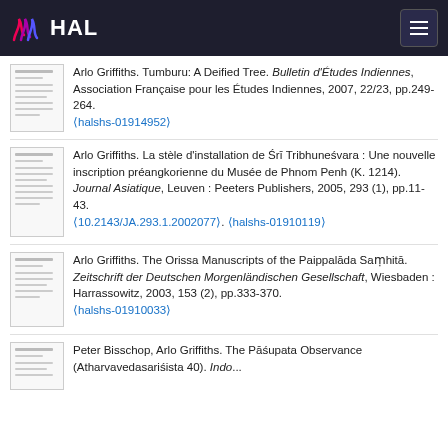HAL
Arlo Griffiths. Tumburu: A Deified Tree. Bulletin d'Études Indiennes, Association Française pour les Études Indiennes, 2007, 22/23, pp.249-264. ⟨halshs-01914952⟩
Arlo Griffiths. La stèle d'installation de Śrī Tribhuneśvara : Une nouvelle inscription préangkorienne du Musée de Phnom Penh (K. 1214). Journal Asiatique, Leuven : Peeters Publishers, 2005, 293 (1), pp.11-43. ⟨10.2143/JA.293.1.2002077⟩. ⟨halshs-01910119⟩
Arlo Griffiths. The Orissa Manuscripts of the Paippalāda Saṃhitā. Zeitschrift der Deutschen Morgenländischen Gesellschaft, Wiesbaden : Harrassowitz, 2003, 153 (2), pp.333-370. ⟨halshs-01910033⟩
Peter Bisschop, Arlo Griffiths. The Pāśupata Observance (Atharvavedasariśista 40). Indo...